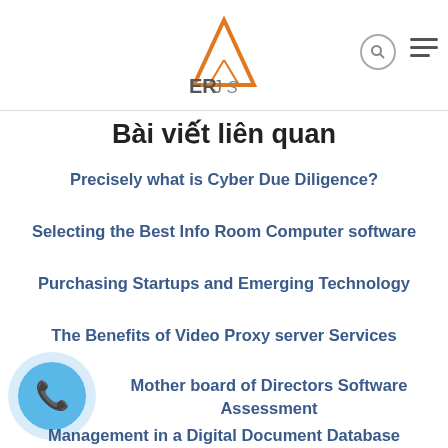EROS logo with navigation icons
Bài viết liên quan
Precisely what is Cyber Due Diligence?
Selecting the Best Info Room Computer software
Purchasing Startups and Emerging Technology
The Benefits of Video Proxy server Services
Mother board of Directors Software Assessment
Management in a Digital Document Database